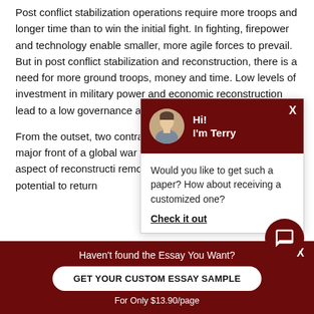Post conflict stabilization operations require more troops and longer time than to win the initial fight. In fighting, firepower and technology enable smaller, more agile forces to prevail. But in post conflict stabilization and reconstruction, there is a need for more ground troops, money and time. Low levels of investment in military power and economic reconstruction lead to a low governance and poor econo...
From the outset, two contradictions marked the intervention in Afghanistan. The major front of a global war on footprint engagement. This limited every aspect of reconstruction removed from power, but neither their potential to return...
[Figure (screenshot): Chat popup widget with dark red header showing avatar of a man and text 'Hi! I'm Terry', body text 'Would you like to get such a paper? How about receiving a customized one?' with a 'Check it out' link.]
[Figure (screenshot): Bottom banner with dark red background saying 'Haven't found the Essay You Want?' with a button 'GET YOUR CUSTOM ESSAY SAMPLE' and subtext 'For Only $13.90/page'.]